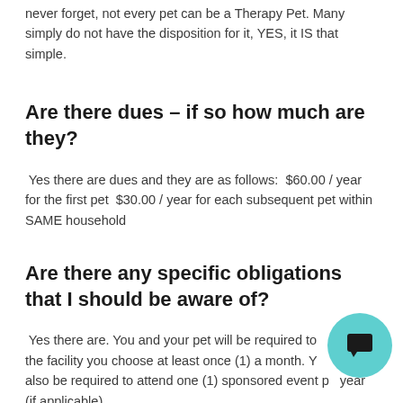never forget, not every pet can be a Therapy Pet. Many simply do not have the disposition for it, YES, it IS that simple.
Are there dues – if so how much are they?
Yes there are dues and they are as follows:  $60.00 / year for the first pet  $30.00 / year for each subsequent pet within SAME household
Are there any specific obligations that I should be aware of?
Yes there are. You and your pet will be required to visit the facility you choose at least once (1) a month. You will also be required to attend one (1) sponsored event per year (if applicable).